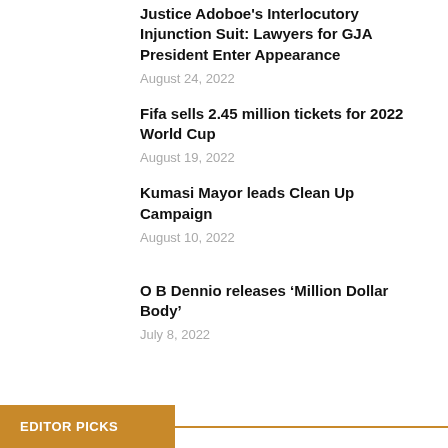Justice Adoboe's Interlocutory Injunction Suit: Lawyers for GJA President Enter Appearance
August 24, 2022
Fifa sells 2.45 million tickets for 2022 World Cup
August 19, 2022
Kumasi Mayor leads Clean Up Campaign
August 10, 2022
O B Dennio releases ‘Million Dollar Body’
July 8, 2022
EDITOR PICKS